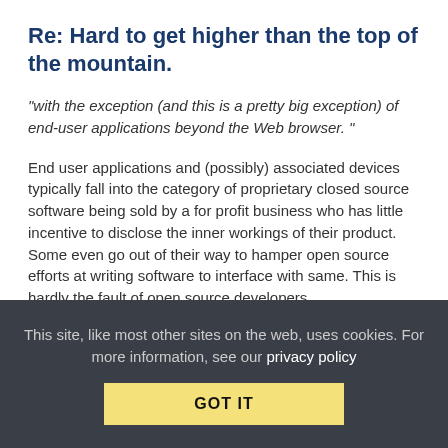Re: Hard to get higher than the top of the mountain.
"with the exception (and this is a pretty big exception) of end-user applications beyond the Web browser. "
End user applications and (possibly) associated devices typically fall into the category of proprietary closed source software being sold by a for profit business who has little incentive to disclose the inner workings of their product. Some even go out of their way to hamper open source efforts at writing software to interface with same. This is hardly the fault of open source developers.
Perhaps I have misunderstood your comment ....
This site, like most other sites on the web, uses cookies. For more information, see our privacy policy GOT IT